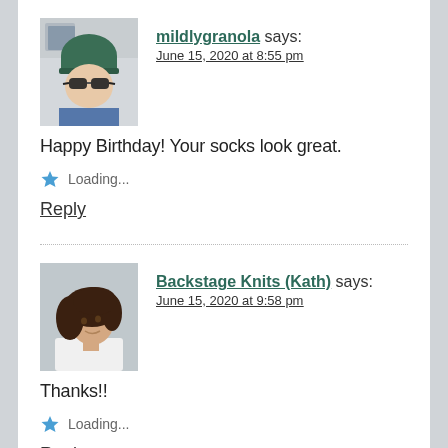[Figure (photo): Avatar photo of mildlygranola - person wearing green beanie and sunglasses]
mildlygranola says:
June 15, 2020 at 8:55 pm
Happy Birthday! Your socks look great.
Loading...
Reply
[Figure (photo): Avatar photo of Backstage Knits (Kath) - person with dark wavy hair wearing white top]
Backstage Knits (Kath) says:
June 15, 2020 at 9:58 pm
Thanks!!
Loading...
Reply